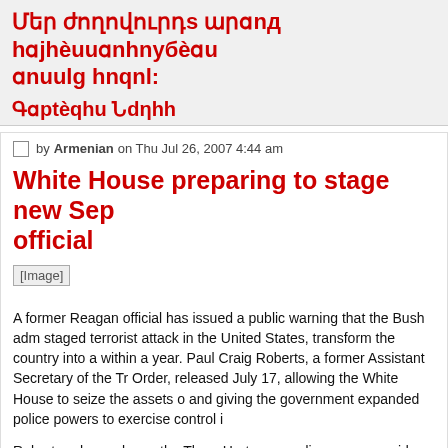Մեր ժողովուրդս արդার հայրենամտությեամո արառг հողու:
Գarեqhն Նдηhh
by Armenian on Thu Jul 26, 2007 4:44 am
White House preparing to stage new Sep official
[Figure (photo): Image placeholder]
A former Reagan official has issued a public warning that the Bush adm staged terrorist attack in the United States, transform the country into a within a year. Paul Craig Roberts, a former Assistant Secretary of the Tr Order, released July 17, allowing the White House to seize the assets o and giving the government expanded police powers to exercise control i
Roberts, who spoke on the Thom Hartmann radio program, said: "Wher new Executive Order], there's no check to it. So it really is a form of tota
"The American people don't really understand the danger that they face neoconservatives intended to use a renewal of the fight against terrorism fading Republican Party.